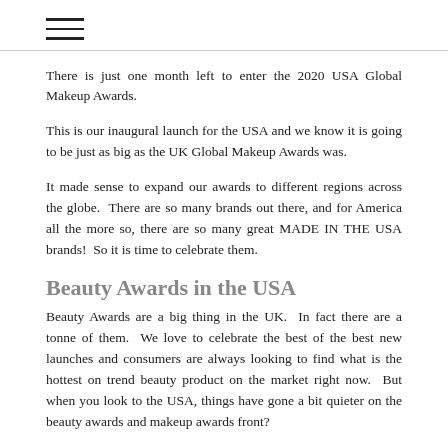☰
There is just one month left to enter the 2020 USA Global Makeup Awards.
This is our inaugural launch for the USA and we know it is going to be just as big as the UK Global Makeup Awards was.
It made sense to expand our awards to different regions across the globe.  There are so many brands out there, and for America all the more so, there are so many great MADE IN THE USA brands!  So it is time to celebrate them.
Beauty Awards in the USA
Beauty Awards are a big thing in the UK.  In fact there are a tonne of them.  We love to celebrate the best of the best new launches and consumers are always looking to find what is the hottest on trend beauty product on the market right now.  But when you look to the USA, things have gone a bit quieter on the beauty awards and makeup awards front?